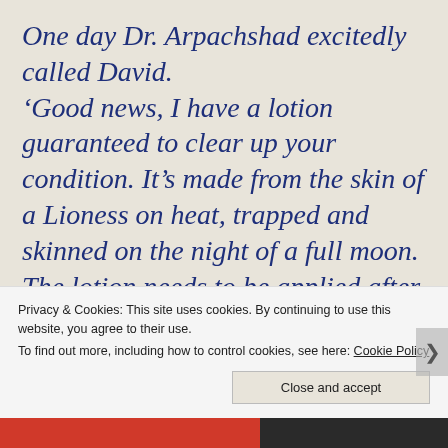One day Dr. Arpachshad excitedly called David. ‘Good news, I have a lotion guaranteed to clear up your condition. It’s made from the skin of a Lioness on heat, trapped and skinned on the night of a full moon. The lotion needs to be applied after a soak in the baths located on the British Virgin Islands.'
Privacy & Cookies: This site uses cookies. By continuing to use this website, you agree to their use.
To find out more, including how to control cookies, see here: Cookie Policy
Close and accept